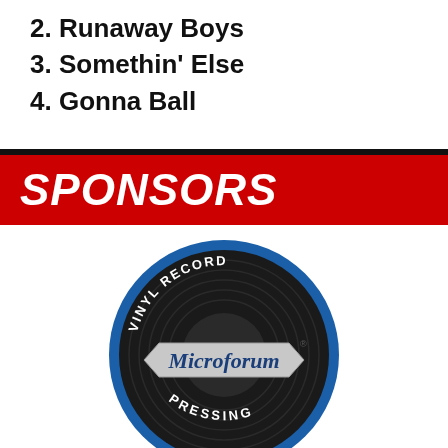2. Runaway Boys
3. Somethin' Else
4. Gonna Ball
SPONSORS
[Figure (logo): Microforum Vinyl Record Pressing circular logo with blue ring, black vinyl record background, and a banner reading 'Microforum' in script lettering. Text around the ring reads 'VINYL RECORD' at top and 'PRESSING' at bottom.]